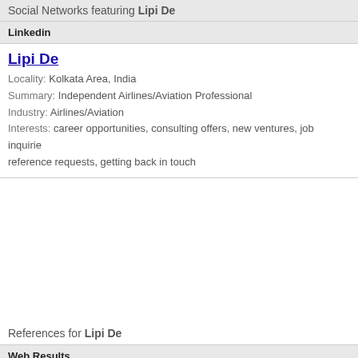Social Networks featuring Lipi De
Linkedin
Lipi De
Locality: Kolkata Area, India
Summary: Independent Airlines/Aviation Professional
Industry: Airlines/Aviation
Interests: career opportunities, consulting offers, new ventures, job inquiries, reference requests, getting back in touch
References for Lipi De
Web Results
Indian Language Software Company: Modular InfoTech Pvt. Ltd
Modular Infotech Ltd supply wide range of software in Indian languages like Office-Indian language office suit ...
Business Standard Blogs » Lipi Mohapatra